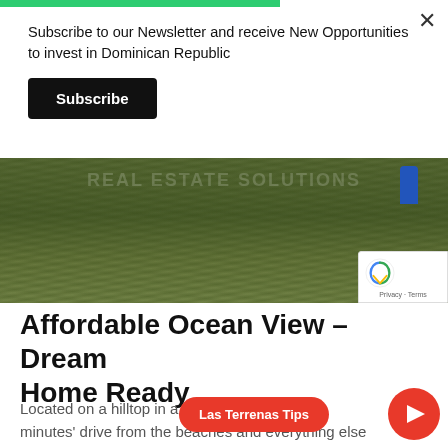Subscribe to our Newsletter and receive New Opportunities to invest in Dominican Republic
Subscribe
[Figure (photo): Outdoor grassy hilltop field with a person in blue visible in the upper right corner. Watermark text overlay partially visible. White heart icon in lower right.]
Affordable Ocean View – Dream Home Ready
Located on a hilltop in a resi... fa... minutes' drive from the beaches and everything else